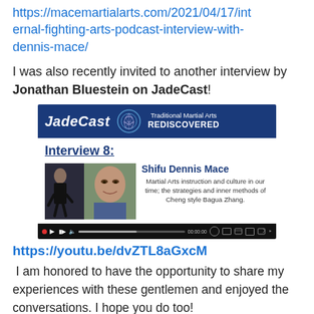https://macemartialarts.com/2021/04/17/internal-fighting-arts-podcast-interview-with-dennis-mace/
I was also recently invited to another interview by Jonathan Bluestein on JadeCast!
[Figure (screenshot): JadeCast video thumbnail: Interview 8 with Shifu Dennis Mace. Blue header with JadeCast logo and 'Traditional Martial Arts REDISCOVERED'. Body shows 'Interview 8:' underlined, photo of subjects, and name/description panel. Video player bar at bottom.]
https://youtu.be/dvZTL8aGxcM
I am honored to have the opportunity to share my experiences with these gentlemen and enjoyed the conversations. I hope you do too!